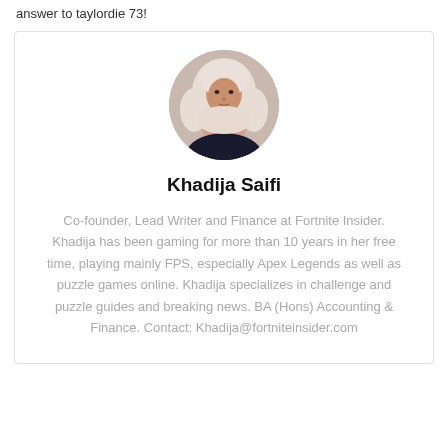answer to taylordie 73!
[Figure (photo): Circular profile photo of Khadija Saifi, a woman wearing a white hijab and dark top]
Khadija Saifi
Co-founder, Lead Writer and Finance at Fortnite Insider. Khadija has been gaming for more than 10 years in her free time, playing mainly FPS, especially Apex Legends as well as puzzle games online. Khadija specializes in challenge and puzzle guides and breaking news. BA (Hons) Accounting & Finance. Contact: Khadija@fortniteinsider.com